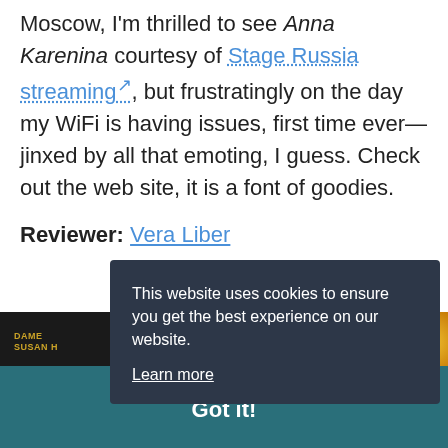Moscow, I'm thrilled to see Anna Karenina courtesy of Stage Russia streaming, but frustratingly on the day my WiFi is having issues, first time ever—jinxed by all that emoting, I guess. Check out the web site, it is a font of goodies.
Reviewer: Vera Liber
This website uses cookies to ensure you get the best experience on our website. Learn more
Got it!